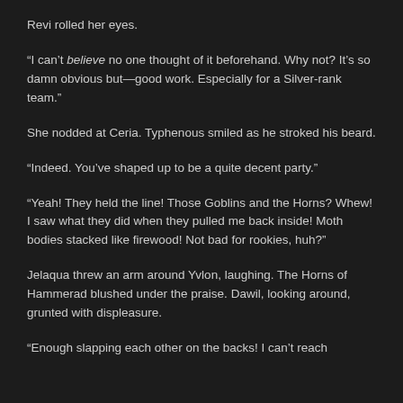Revi rolled her eyes.
“I can’t believe no one thought of it beforehand. Why not? It’s so damn obvious but—good work. Especially for a Silver-rank team.”
She nodded at Ceria. Typhenous smiled as he stroked his beard.
“Indeed. You’ve shaped up to be a quite decent party.”
“Yeah! They held the line! Those Goblins and the Horns? Whew! I saw what they did when they pulled me back inside! Moth bodies stacked like firewood! Not bad for rookies, huh?”
Jelaqua threw an arm around Yvlon, laughing. The Horns of Hammerad blushed under the praise. Dawil, looking around, grunted with displeasure.
“Enough slapping each other on the backs! I can’t reach